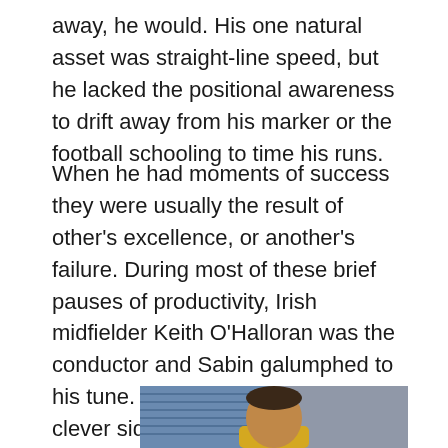away, he would. His one natural asset was straight-line speed, but he lacked the positional awareness to drift away from his marker or the football schooling to time his runs.
When he had moments of success they were usually the result of other's excellence, or another's failure. During most of these brief pauses of productivity, Irish midfielder Keith O'Halloran was the conductor and Sabin galumphed to his tune. With the maestro providing clever side-footed passes between rival centre backs, and the Frenchman applying his acceleration, defenders were often drawn into a clattering challenge. Hopefully before Eric could apply a leaden boot to the ball.
[Figure (photo): A football player with short hair wearing a yellow jacket, photographed outdoors with blue stadium seats visible in the background.]